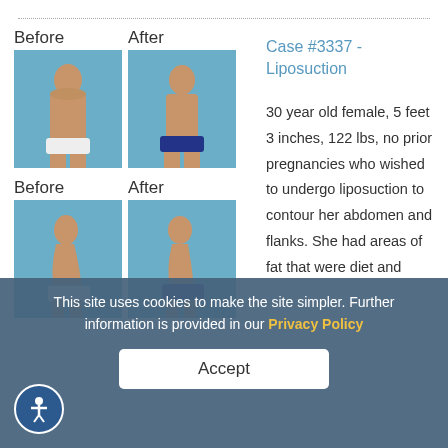[Figure (photo): Before and after photos of liposuction case #3337 - front and side views showing female torso before and after liposuction procedure]
Case #3337 - Liposuction
30 year old female, 5 feet 3 inches, 122 lbs, no prior pregnancies who wished to undergo liposuction to contour her abdomen and flanks. She had areas of fat that were diet and exercise resistant which she felt could be improved with liposuction.
This site uses cookies to make the site simpler. Further information is provided in our Privacy Policy
Accept